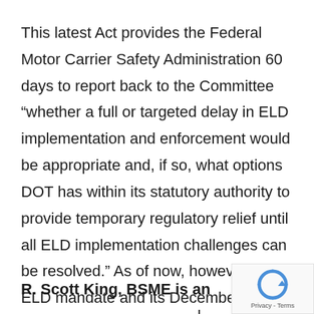This latest Act provides the Federal Motor Carrier Safety Administration 60 days to report back to the Committee “whether a full or targeted delay in ELD implementation and enforcement would be appropriate and, if so, what options DOT has within its statutory authority to provide temporary regulatory relief until all ELD implementation challenges can be resolved.” As of now, however, the ELD mandate and its December 2017 implementation date remain in place. We will continue to follow these developments through the coming months.
R. Scott King, BSME is an Automotive / Mechanical